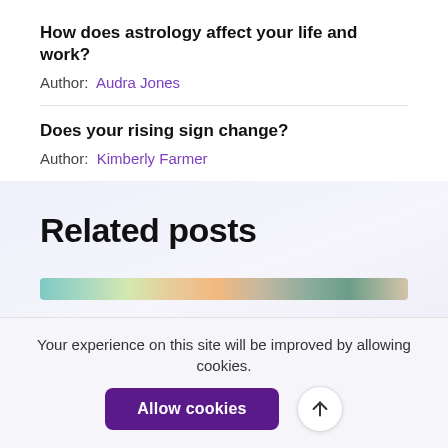How does astrology affect your life and work?
Author: Audra Jones
Does your rising sign change?
Author: Kimberly Farmer
Related posts
[Figure (illustration): Colorful gradient image strip, partial view of a related post thumbnail with greens, teals, and warm tones]
Your experience on this site will be improved by allowing cookies.
Allow cookies